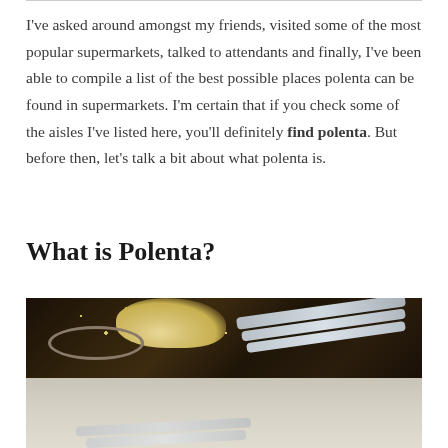I've asked around amongst my friends, visited some of the most popular supermarkets, talked to attendants and finally, I've been able to compile a list of the best possible places polenta can be found in supermarkets. I'm certain that if you check some of the aisles I've listed here, you'll definitely find polenta. But before then, let's talk a bit about what polenta is.
What is Polenta?
[Figure (photo): Photo of yellow polenta/cornmeal in a spoon and bowl on a dark wooden surface, with measuring spoons arranged diagonally, and a lighter background in the lower portion.]